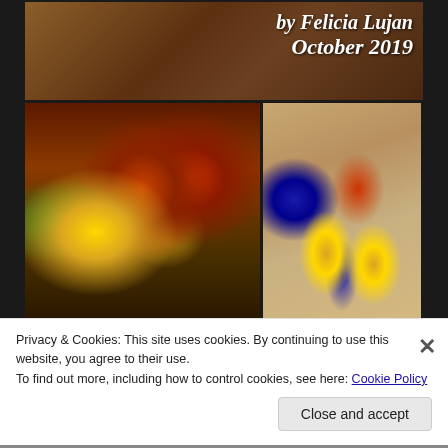[Figure (photo): Top photo showing a dark granite countertop background with cursive white italic text overlay reading 'by Felicia Lujan October 2019']
[Figure (photo): Bottom left photo showing a floral arrangement with yellow sunflowers and red/orange chrysanthemums in a vase on a table]
[Figure (photo): Bottom right photo showing decorative craft items including small sunflowers, blue flowers, and burlap ribbon on a granite surface]
Privacy & Cookies: This site uses cookies. By continuing to use this website, you agree to their use.
To find out more, including how to control cookies, see here: Cookie Policy
Close and accept